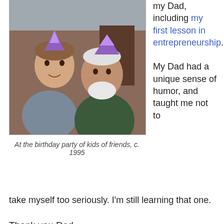[Figure (photo): Two smiling men at a birthday party wearing party hats, circa 1995]
At the birthday party of kids of friends, c. 1995
my Dad, including my first lesson in entrepreneurship.
My Dad had a unique sense of humor, and taught me not to take myself too seriously. I'm still learning that one.
Thank you Dad.
John Frank Leyerle, 11/18/26 - 8/2/06, RIP
Unknown at 5:31 PM    No comments:
Share
Wednesday, November 17, 2010
Where Is It Wednesday VIII